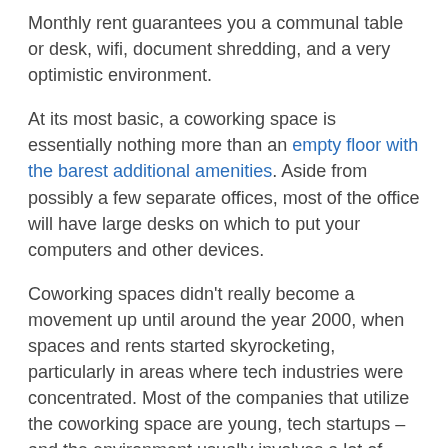Monthly rent guarantees you a communal table or desk, wifi, document shredding, and a very optimistic environment.
At its most basic, a coworking space is essentially nothing more than an empty floor with the barest additional amenities. Aside from possibly a few separate offices, most of the office will have large desks on which to put your computers and other devices.
Coworking spaces didn't really become a movement up until around the year 2000, when spaces and rents started skyrocketing, particularly in areas where tech industries were concentrated. Most of the companies that utilize the coworking space are young, tech startups – and the environment usually involves a lot of chatting, horsing around, and generally not working.
Lawyers and Coworking Spaces